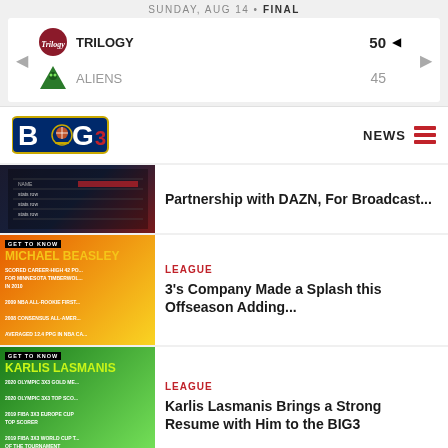SUNDAY, AUG 14 • FINAL
| Team | Score |
| --- | --- |
| TRILOGY | 50 |
| ALIENS | 45 |
[Figure (logo): BIG3 basketball league logo]
NEWS
[Figure (screenshot): Stats scoreboard dark background thumbnail]
Partnership with DAZN, For Broadcast...
[Figure (photo): Get to Know Michael Beasley player card with orange/yellow background]
LEAGUE
3's Company Made a Splash this Offseason Adding...
[Figure (photo): Get to Know Karlis Lasmanis player card with green background]
LEAGUE
Karlis Lasmanis Brings a Strong Resume with Him to the BIG3
[Figure (photo): Partial bottom thumbnail showing basketball player]
LEAGUE